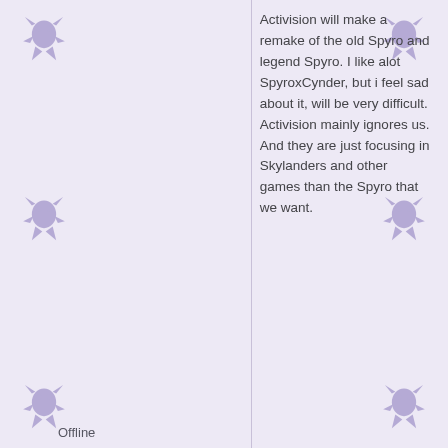Activision will make a remake of the old Spyro and legend Spyro. I like alot SpyroxCynder, but i feel sad about it, will be very difficult. Activision mainly ignores us. And they are just focusing in Skylanders and other games than the Spyro that we want.
Offline